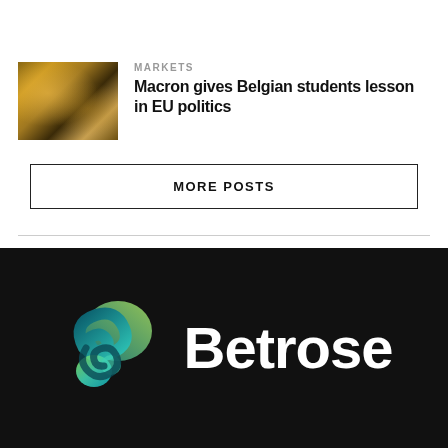[Figure (photo): Partial top image cropped at top of page]
MARKETS
Macron gives Belgian students lesson in EU politics
[Figure (photo): Stock exchange trading floor with crowds of people, golden lighting]
MORE POSTS
[Figure (logo): Betrose logo: circular gradient icon in green and teal with white Betrose wordmark on black background]